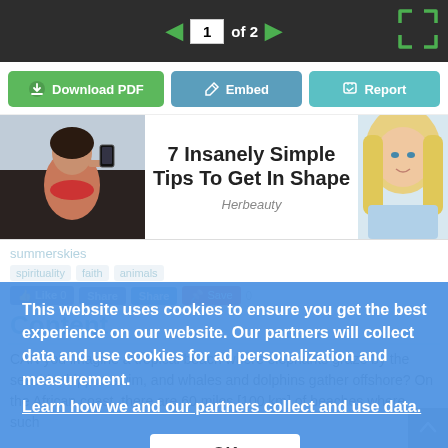1 of 2
Download PDF   Embed   Report
[Figure (screenshot): Advertisement banner: 7 Insanely Simple Tips To Get In Shape — Herbeauty, with fitness photo on left and blonde woman photo on right]
This website uses cookies to ensure you get the best experience on our website. Our partners will collect data and use cookies for ad personalization and measurement.
Learn how we and our partners collect and use data.
OK
summerskies
Content
CAN you imagine a tropical beach where elephants graze by the seaside, hippos swim, and whales and dolphins gather offshore? On the African coast, there are 60 miles [100 km] of beaches where such scenes are still common. For such scenes to be enjoyed in the future,